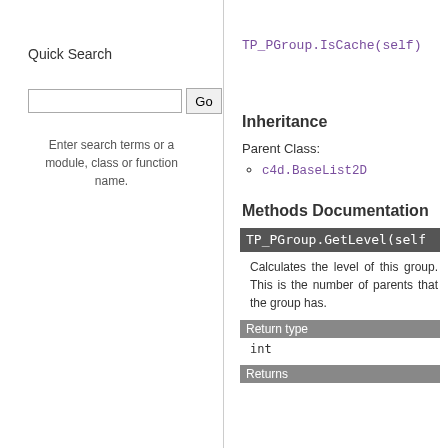Quick Search
Enter search terms or a module, class or function name.
TP_PGroup.IsCache(self)
Inheritance
Parent Class:
c4d.BaseList2D
Methods Documentation
TP_PGroup.GetLevel(self)
Calculates the level of this group. This is the number of parents that the group has.
Return type
int
Returns